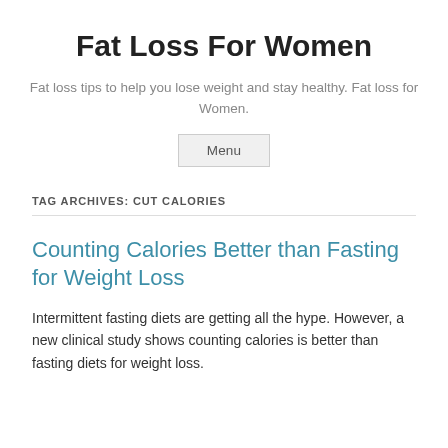Fat Loss For Women
Fat loss tips to help you lose weight and stay healthy. Fat loss for Women.
Menu
TAG ARCHIVES: CUT CALORIES
Counting Calories Better than Fasting for Weight Loss
Intermittent fasting diets are getting all the hype. However, a new clinical study shows counting calories is better than fasting diets for weight loss.